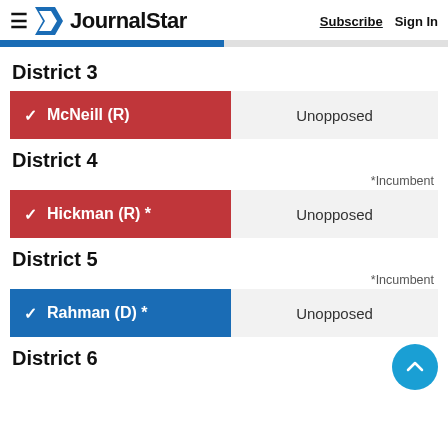Journal Star — Subscribe | Sign In
District 3
| Candidate | Result |
| --- | --- |
| ✓ McNeill (R) | Unopposed |
District 4
*Incumbent
| Candidate | Result |
| --- | --- |
| ✓ Hickman (R) * | Unopposed |
District 5
*Incumbent
| Candidate | Result |
| --- | --- |
| ✓ Rahman (D) * | Unopposed |
District 6